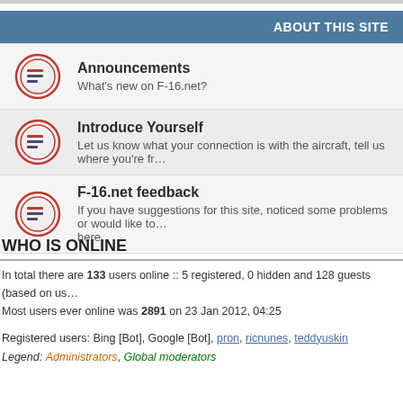ABOUT THIS SITE
Announcements — What's new on F-16.net?
Introduce Yourself — Let us know what your connection is with the aircraft, tell us where you're fr…
F-16.net feedback — If you have suggestions for this site, noticed some problems or would like to… here.
WHO IS ONLINE
In total there are 133 users online :: 5 registered, 0 hidden and 128 guests (based on us…
Most users ever online was 2891 on 23 Jan 2012, 04:25
Registered users: Bing [Bot], Google [Bot], pron, ricnunes, teddyuskin
Legend: Administrators, Global moderators